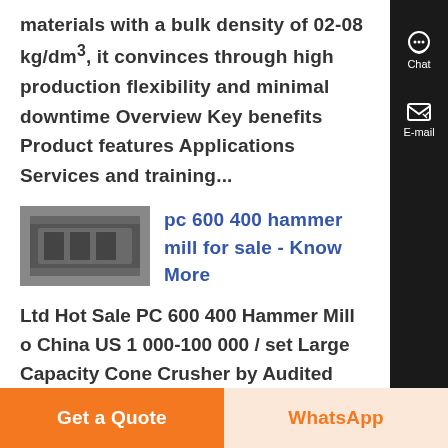materials with a bulk density of 02-08 kg/dm³, it convinces through high production flexibility and minimal downtime Overview Key benefits Product features Applications Services and training...
[Figure (photo): Thumbnail photo of an industrial hammer mill or vibrating screen machine]
pc 600 400 hammer mill for sale - Know More
Ltd Hot Sale PC 600 400 Hammer Mill of China US 1 000-100 000 / set Large Capacity Cone Crusher by Audited Supplier Chat Online Get Price price o tonga nex
Get a Quote
WhatsApp